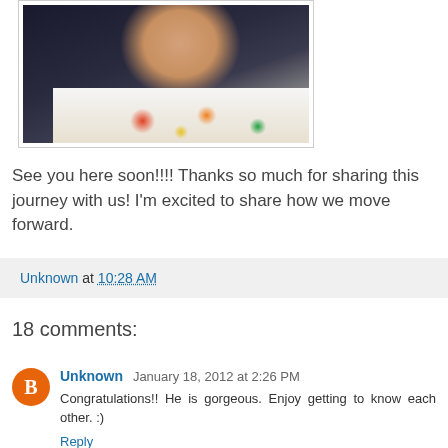[Figure (photo): A sleeping newborn baby resting on what appears to be a floral patterned blanket or pillow, with dark background]
See you here soon!!!! Thanks so much for sharing this journey with us! I'm excited to share how we move forward.
Unknown at 10:28 AM
18 comments:
Unknown January 18, 2012 at 2:26 PM
Congratulations!! He is gorgeous. Enjoy getting to know each other. :)
Reply